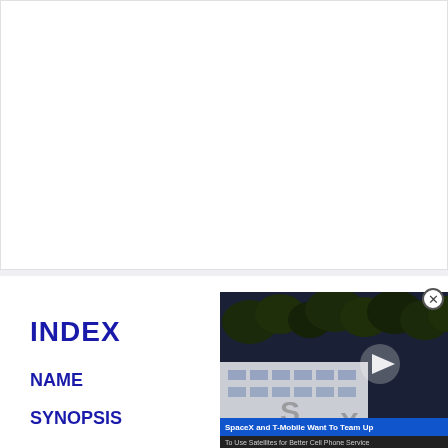[Figure (screenshot): White blank top section of a webpage]
INDEX
NAME
SYNOPSIS
[Figure (screenshot): Video overlay showing SpaceX building with trees in background, play button, close button, caption 'SpaceX and T-Mobile Want To Team Up' and subcaption 'To Use Satellites for Better Cell Phone Service']